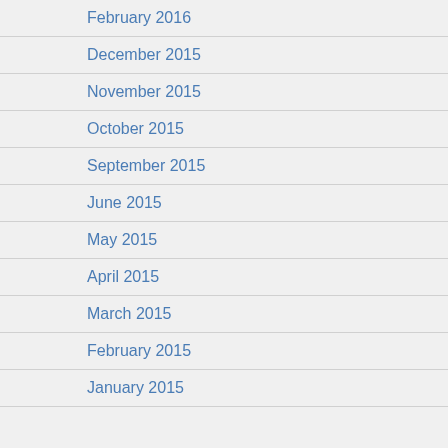February 2016
December 2015
November 2015
October 2015
September 2015
June 2015
May 2015
April 2015
March 2015
February 2015
January 2015